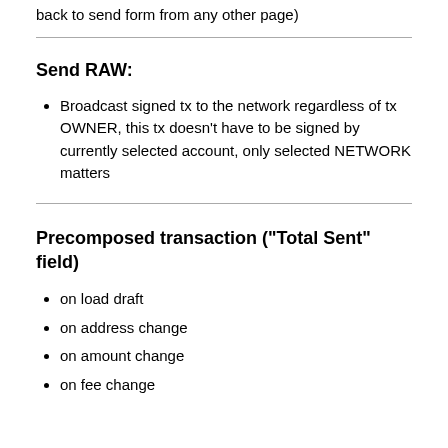back to send form from any other page)
Send RAW:
Broadcast signed tx to the network regardless of tx OWNER, this tx doesn't have to be signed by currently selected account, only selected NETWORK matters
Precomposed transaction ("Total Sent" field)
on load draft
on address change
on amount change
on fee change